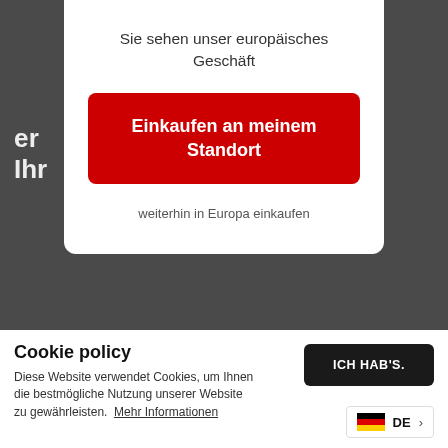[Figure (screenshot): Dark background of a retail website showing partial hero text in German, a partially visible red subscription button, and dimmed background imagery]
Sie sehen unser europäisches Geschäft
Einkaufen an meinem Standort
weiterhin in Europa einkaufen
Möchten ... en und besten Informationen über unsere Produkte und Aktionen erhalten?
Anmelden & 5% Rabatt erhalten!
Cookie policy
Diese Website verwendet Cookies, um Ihnen die bestmögliche Nutzung unserer Website zu gewährleisten. Mehr Informationen
ICH HAB'S.
DE